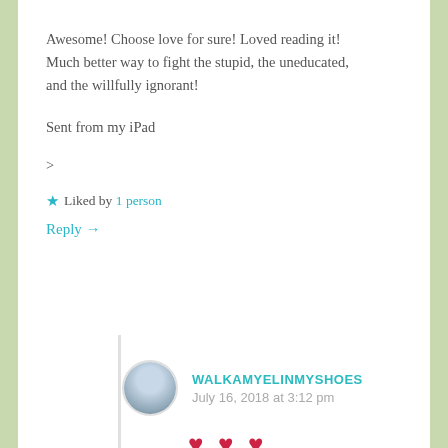Awesome! Choose love for sure! Loved reading it! Much better way to fight the stupid, the uneducated, and the willfully ignorant!
Sent from my iPad
>
★ Liked by 1 person
Reply →
WALKAMYELINMYSHOES
July 16, 2018 at 3:12 pm
[Figure (illustration): Three red heart emoji symbols]